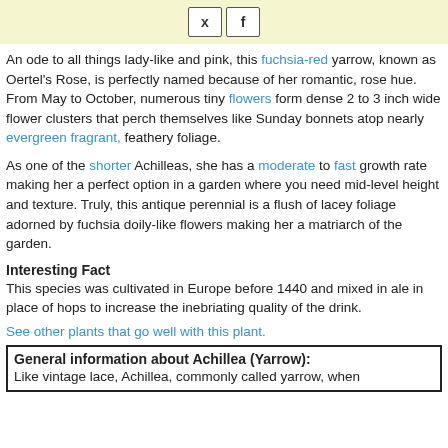[Figure (other): Banner with Twitter and Facebook social share buttons on a light yellow background]
An ode to all things lady-like and pink, this fuchsia-red yarrow, known as Oertel's Rose, is perfectly named because of her romantic, rose hue. From May to October, numerous tiny flowers form dense 2 to 3 inch wide flower clusters that perch themselves like Sunday bonnets atop nearly evergreen fragrant, feathery foliage.
As one of the shorter Achilleas, she has a moderate to fast growth rate making her a perfect option in a garden where you need mid-level height and texture. Truly, this antique perennial is a flush of lacey foliage adorned by fuchsia doily-like flowers making her a matriarch of the garden.
Interesting Fact
This species was cultivated in Europe before 1440 and mixed in ale in place of hops to increase the inebriating quality of the drink.
See other plants that go well with this plant.
General information about Achillea (Yarrow):
Like vintage lace, Achillea, commonly called yarrow, when...